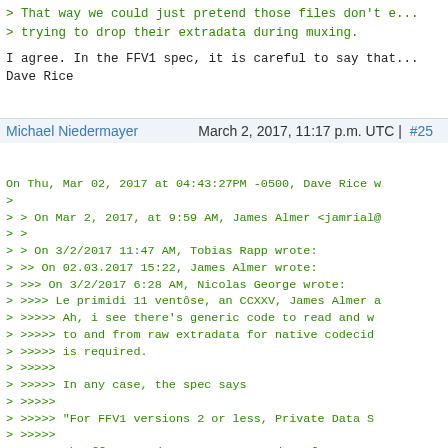> That way we could just pretend those files don't e...
> trying to drop their extradata during muxing.
I agree. In the FFV1 spec, it is careful to say that...
Dave Rice
Michael Niedermayer   March 2, 2017, 11:17 p.m. UTC | #25
On Thu, Mar 02, 2017 at 04:43:27PM -0500, Dave Rice w
>
> > On Mar 2, 2017, at 9:59 AM, James Almer <jamrial@...
> >
> > On 3/2/2017 11:47 AM, Tobias Rapp wrote:
> >> On 02.03.2017 15:22, James Almer wrote:
> >>> On 3/2/2017 6:28 AM, Nicolas George wrote:
> >>>> Le primidi 11 ventôse, an CCXXV, James Almer a...
> >>>>> Ah, i see there's generic code to read and w...
> >>>>> to and from raw extradata for native codecid...
> >>>>> is required.
> >>>>>
> >>>>> In any case, the spec says
> >>>>>
> >>>>> "For FFV1 versions 2 or less, Private Data S...
> >>>>>
> >>>>> The ffv1 encoder creates extradata for v2 an...
> >>>>> should have a custom case for ffv1 in order t...
> >>>>> avoid writing said extradata.
> >>>>
> >>>> I have not looked myself at the situation, I d...
> >>>> her. According to it, it seems here the FFV1 e...
> >>>> specification and needs to be fixed.